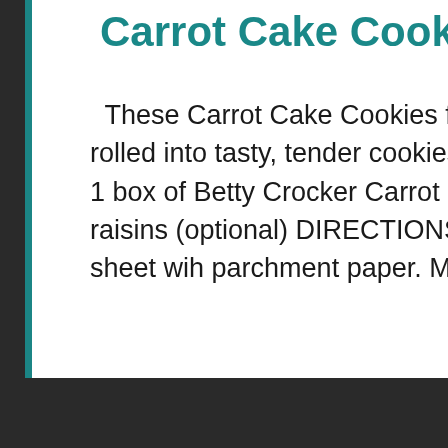Carrot Cake Cookies
These Carrot Cake Cookies feature all the flavours of carrot cake rolled into tasty, tender cookies! Carrot Cake Cookies INGREDIENTS 1 box of Betty Crocker Carrot Cake Mix 2 eggs 1/2 cup oil 1 cup of raisins (optional) DIRECTIONS Preheat oven to 350. Line a cookie sheet wih parchment paper. Mix cake mix, eggs …
[Figure (illustration): Teal heart icon button (like/save button)]
[Figure (illustration): Share icon button (circle with share symbol)]
Read More